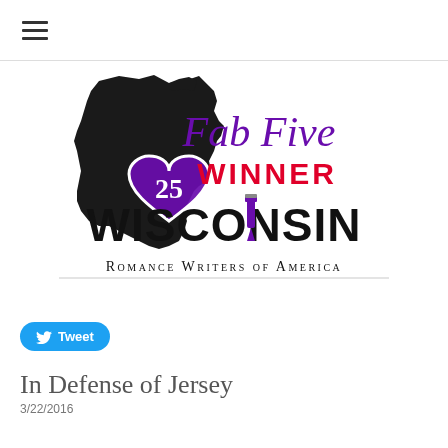≡ (hamburger menu)
[Figure (logo): Wisconsin Romance Writers of America – Fab Five Winner badge. Shows the silhouette of Wisconsin state in black with a purple heart containing '25' in white script, a purple fountain pen as the dot of the 'i'. Script text 'Fab Five' in purple, 'WINNER' in bold red, 'WISCONSIN' in large bold black, 'Romance Writers of America' in serif small caps below.]
Tweet
In Defense of Jersey
3/22/2016